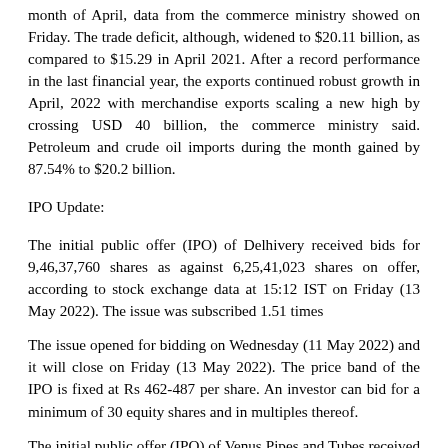month of April, data from the commerce ministry showed on Friday. The trade deficit, although, widened to $20.11 billion, as compared to $15.29 in April 2021. After a record performance in the last financial year, the exports continued robust growth in April, 2022 with merchandise exports scaling a new high by crossing USD 40 billion, the commerce ministry said. Petroleum and crude oil imports during the month gained by 87.54% to $20.2 billion.
IPO Update:
The initial public offer (IPO) of Delhivery received bids for 9,46,37,760 shares as against 6,25,41,023 shares on offer, according to stock exchange data at 15:12 IST on Friday (13 May 2022). The issue was subscribed 1.51 times
The issue opened for bidding on Wednesday (11 May 2022) and it will close on Friday (13 May 2022). The price band of the IPO is fixed at Rs 462-487 per share. An investor can bid for a minimum of 30 equity shares and in multiples thereof.
The initial public offer (IPO) of Venus Pipes and Tubes received bids for 4,81,39,322 shares as against 35,51,914 shares on offer, according to stock exchange data at 15:15 IST on Friday (13 May...